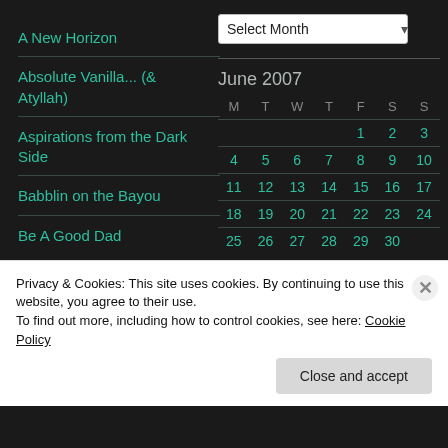A New Horizon
Absolute Vanilla... (& Atyllah)
Aspirations from the Dark Side
Babblin on the Bayou
Be A Good Dad
[Figure (other): Select Month dropdown widget]
[Figure (other): June 2007 calendar widget showing days 1-30 arranged M T W T F S S]
Privacy & Cookies: This site uses cookies. By continuing to use this website, you agree to their use.
To find out more, including how to control cookies, see here: Cookie Policy
Close and accept